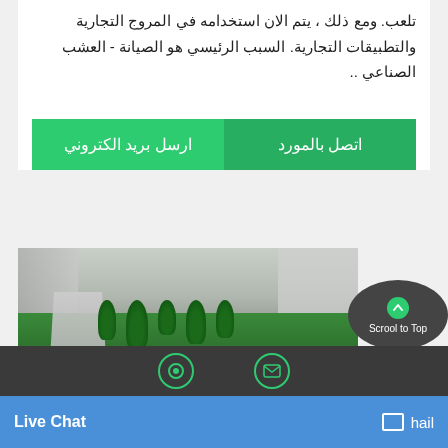تلعب. ومع ذلك ، يتم الان استخدامه في المروج التجارية والتطبيقات التجارية. السبب الرئيسي هو الصيانة - العشب الصناعي ..
اتصل بالمورد
ارسل بريد الكتروني
[Figure (photo): Rooftop or terrace garden with artificial grass, stepping stone pavers, trees/shrubs, and modern building facade in background. A 'Scroll to Top' button overlay appears on right side.]
Live Chat   mail